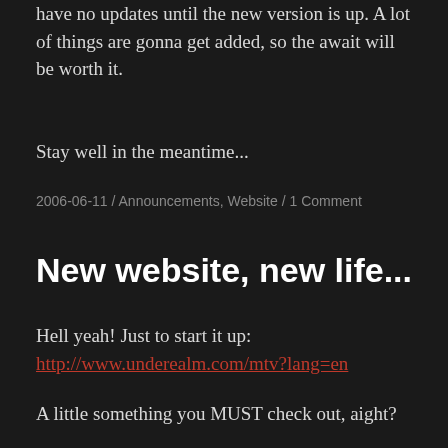have no updates until the new version is up. A lot of things are gonna get added, so the await will be worth it.
Stay well in the meantime...
2006-06-11 / Announcements, Website / 1 Comment
New website, new life...
Hell yeah! Just to start it up:
http://www.underealm.com/mtv?lang=en
A little something you MUST check out, aight?